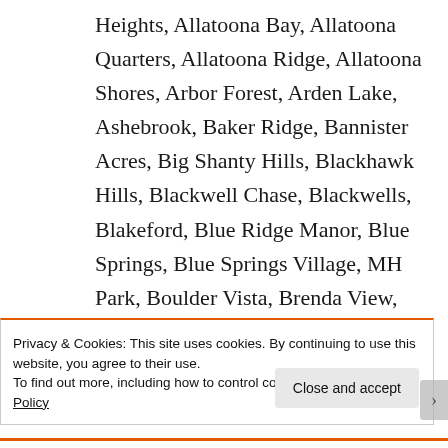Heights, Allatoona Bay, Allatoona Quarters, Allatoona Ridge, Allatoona Shores, Arbor Forest, Arden Lake, Ashebrook, Baker Ridge, Bannister Acres, Big Shanty Hills, Blackhawk Hills, Blackwell Chase, Blackwells, Blakeford, Blue Ridge Manor, Blue Springs, Blue Springs Village, MH Park, Boulder Vista, Brenda View, Brookside
Privacy & Cookies: This site uses cookies. By continuing to use this website, you agree to their use.
To find out more, including how to control cookies, see here: Cookie Policy